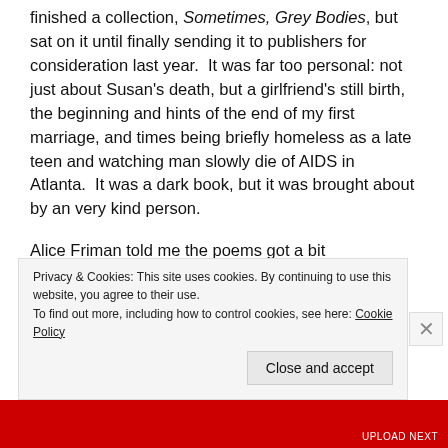finished a collection, Sometimes, Grey Bodies, but sat on it until finally sending it to publishers for consideration last year.  It was far too personal: not just about Susan's death, but a girlfriend's still birth, the beginning and hints of the end of my first marriage, and times being briefly homeless as a late teen and watching man slowly die of AIDS in Atlanta.  It was a dark book, but it was brought about by an very kind person.
Alice Friman told me the poems got a bit overwhelming and traumatically-themed: “the end is a bloody mess” and it was, almost literally.  It suffered from my fear of
Privacy & Cookies: This site uses cookies. By continuing to use this website, you agree to their use.
To find out more, including how to control cookies, see here: Cookie Policy
Close and accept